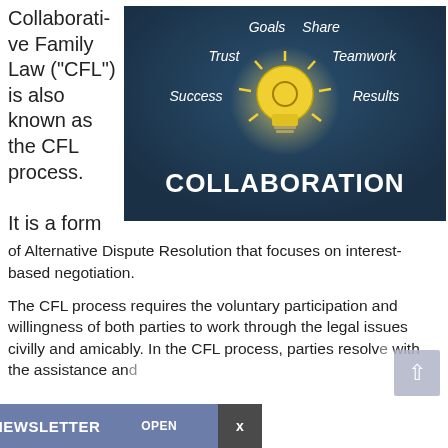Collaborative Family Law ("CFL") is also known as the CFL process.
It is a form of Alternative Dispute Resolution that focuses on interest-based negotiation.
[Figure (illustration): Dark chalkboard background with a glowing light bulb illustration. Words around it: Goals, Share, Trust, Teamwork, Success, Results. Large white text at bottom reads COLLABORATION.]
The CFL process requires the voluntary participation and willingness of both parties to work through the legal issues civilly and amicably. In the CFL process, parties resolv... with the assistance an...